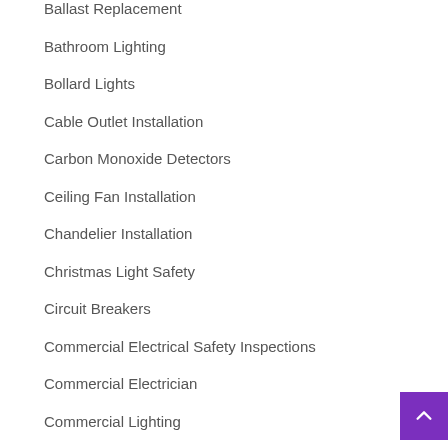Ballast Replacement
Bathroom Lighting
Bollard Lights
Cable Outlet Installation
Carbon Monoxide Detectors
Ceiling Fan Installation
Chandelier Installation
Christmas Light Safety
Circuit Breakers
Commercial Electrical Safety Inspections
Commercial Electrician
Commercial Lighting
Current Events with Electricity
Current Events: Energy
Deck Lighting